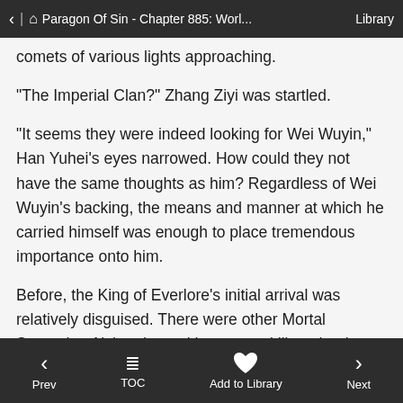< | ⌂ Paragon Of Sin - Chapter 885: Worl... Library
comets of various lights approaching.
"The Imperial Clan?" Zhang Ziyi was startled.
"It seems they were indeed looking for Wei Wuyin," Han Yuhei's eyes narrowed. How could they not have the same thoughts as him? Regardless of Wei Wuyin's backing, the means and manner at which he carried himself was enough to place tremendous importance onto him.
Before, the King of Everlore's initial arrival was relatively disguised. There were other Mortal Sovereign Alchemists, with greater skill, at the time. He was simply a foreigner with a s.h.i.+tty foundation in comparison to these established alchemists who were all Ascended beings.
< Prev   TOC   Add to Library   > Next